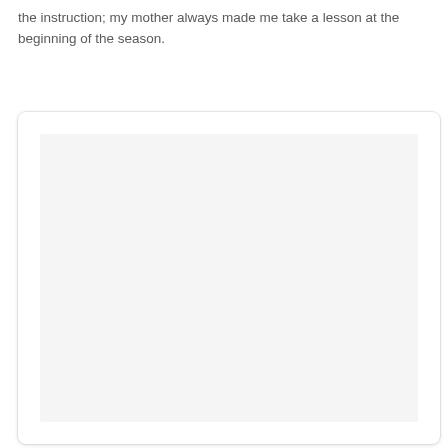the instruction; my mother always made me take a lesson at the beginning of the season.
[Figure (other): A white card/panel UI element with a light gray inner content area, rounded corners, and a subtle drop shadow, occupying the lower three-quarters of the page. The inner area is empty.]